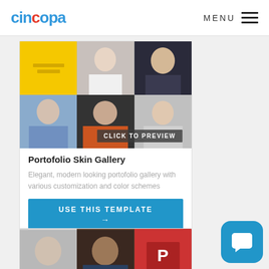cincopa   MENU
[Figure (screenshot): Portfolio skin gallery preview showing a grid of 6 photos: yellow tile with decorative lines, woman in white, man in suit, young man smiling, woman in orange top with hat, man with glasses. Overlay text: CLICK TO PREVIEW]
Portofolio Skin Gallery
Elegant, modern looking portofolio gallery with various customization and color schemes
USE THIS TEMPLATE →
[Figure (screenshot): Partial view of a second card showing three portrait photos at the bottom of the page]
[Figure (other): Blue rounded square chat/messaging button icon in the bottom right corner]